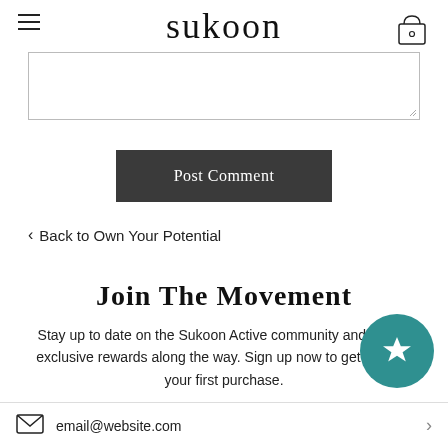sukoon
[Figure (screenshot): Empty textarea input field with resize handle at bottom right]
[Figure (screenshot): Dark grey 'Post Comment' button]
< Back to Own Your Potential
Join The Movement
Stay up to date on the Sukoon Active community and unlock exclusive rewards along the way. Sign up now to get 10% off your first purchase.
[Figure (illustration): Teal circle with white star icon]
email@website.com